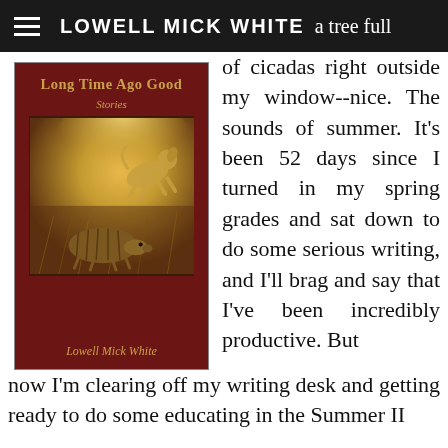LOWELL MICK WHITE
[Figure (illustration): Book cover of 'Long Time Ago Good: Stories' by Lowell Mick White, with dark red/maroon background, gold title text, and a central photograph of a dog and armadillo in a golden field.]
a tree full of cicadas right outside my window--nice. The sounds of summer. It's been 52 days since I turned in my spring grades and sat down to do some serious writing, and I'll brag and say that I've been incredibly productive. But now I'm clearing off my writing desk and getting ready to do some educating in the Summer II